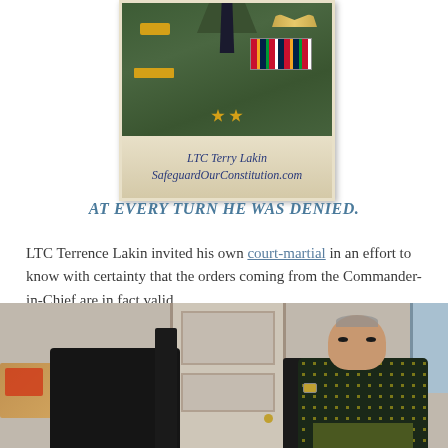[Figure (photo): Photograph of LTC Terry Lakin in US Army dress green uniform with rank insignia, ribbons, and badges. Photo has a polaroid-style white border with handwritten caption reading 'LTC Terry Lakin SafeguardOurConstitution.com']
AT EVERY TURN HE WAS DENIED.
LTC Terrence Lakin invited his own court-martial in an effort to know with certainty that the orders coming from the Commander-in-Chief are in fact valid.
[Figure (photo): Photograph of a man (LTC Terry Lakin) sitting in a room wearing a dark floral Hawaiian shirt and olive/khaki pants, surrounded by black chairs/furniture, with a wooden table visible on the left and a door in the background.]